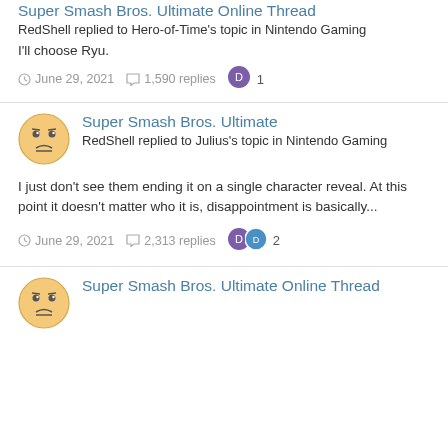[Figure (illustration): Partial forum post block at top - avatar (emoji face) partially visible, with post title and metadata]
Super Smash Bros. Ultimate Online Thread
RedShell replied to Hero-of-Time's topic in Nintendo Gaming
I'll choose Ryu.
June 29, 2021  1,590 replies  1
[Figure (illustration): Forum user avatar - round yellow emoji-style face with neutral/sad expression]
Super Smash Bros. Ultimate
RedShell replied to Julius's topic in Nintendo Gaming
I just don't see them ending it on a single character reveal. At this point it doesn't matter who it is, disappointment is basically...
June 29, 2021  2,313 replies  2
[Figure (illustration): Forum user avatar - round yellow emoji-style face with neutral/sad expression]
Super Smash Bros. Ultimate Online Thread